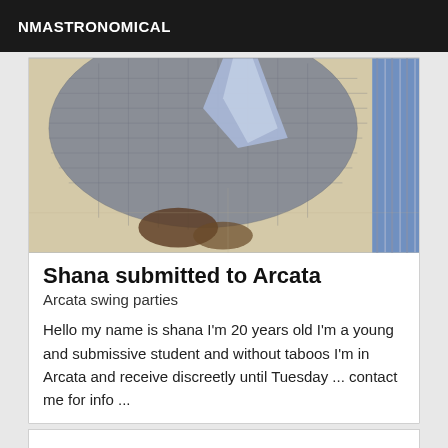NMASTRONOMICAL
[Figure (photo): Close-up photo of a person in a grey mesh/netting outfit with blue fabric visible on the right side, viewed from above on a light floor]
Shana submitted to Arcata
Arcata swing parties
Hello my name is shana I'm 20 years old I'm a young and submissive student and without taboos I'm in Arcata and receive discreetly until Tuesday ... contact me for info ...